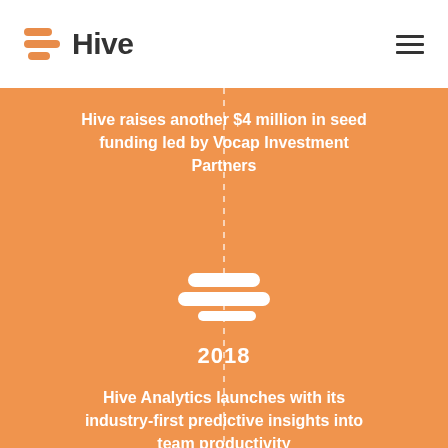[Figure (logo): Hive logo: orange stacked bars icon followed by the word Hive in dark gray bold text]
[Figure (illustration): Hamburger menu icon with three dark horizontal lines in top-right corner]
Hive raises another $4 million in seed funding led by Vocap Investment Partners
[Figure (logo): Hive logo icon in white (three stacked rounded bars) centered on orange background with year 2018 below]
2018
Hive Analytics launches with its industry-first predictive insights into team productivity